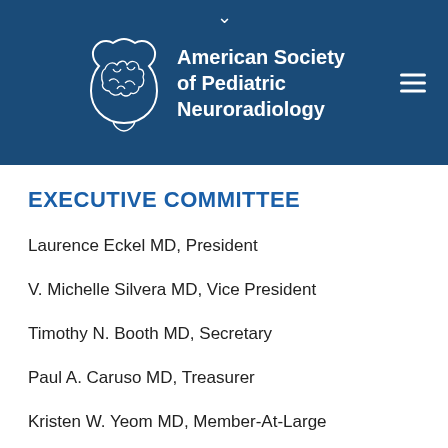[Figure (logo): American Society of Pediatric Neuroradiology logo with brain silhouette in white on dark blue header banner, with hamburger menu icon on right]
EXECUTIVE COMMITTEE
Laurence Eckel MD, President
V. Michelle Silvera MD, Vice President
Timothy N. Booth MD, Secretary
Paul A. Caruso MD, Treasurer
Kristen W. Yeom MD, Member-At-Large
Manohar Shroff MD, Member-At-Large
Aashim Bhatia MD, Member-At-Large